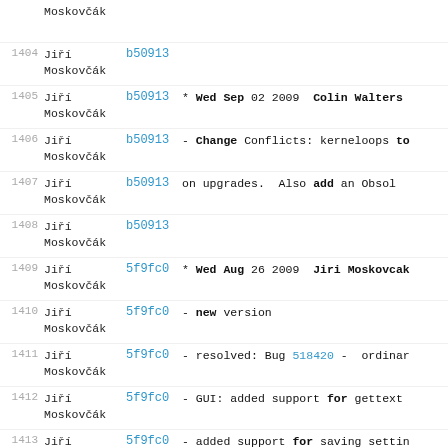Jiří Moskovčák (top, partial)
1404 Jiří Moskovčák b50913
1405 Jiří Moskovčák b50913 * Wed Sep 02 2009 Colin Walters
1406 Jiří Moskovčák b50913 - Change Conflicts: kerneloops to
1407 Jiří Moskovčák b50913 on upgrades. Also add an Obsol
1408 Jiří Moskovčák b50913
1409 Jiří Moskovčák 5f9fc0 * Wed Aug 26 2009 Jiri Moskovcak
1410 Jiří Moskovčák 5f9fc0 - new version
1411 Jiří Moskovčák 5f9fc0 - resolved: Bug 518420 - ordinar
1412 Jiří Moskovčák 5f9fc0 - GUI: added support for gettext
1413 Jiří Moskovčák 5f9fc0 - added support for saving settin
Jiří (bottom partial)